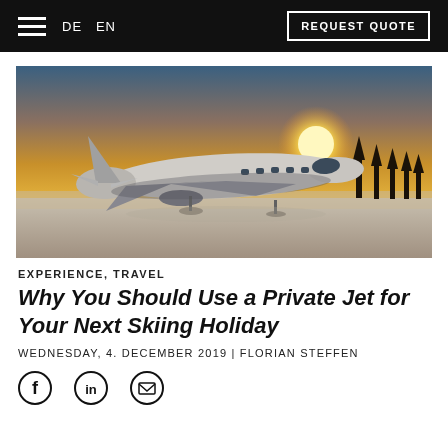DE  EN  REQUEST QUOTE
[Figure (photo): Private jet aircraft parked on a snow-covered runway at sunset/sunrise, with warm golden light and silhouetted trees in the background]
EXPERIENCE, TRAVEL
Why You Should Use a Private Jet for Your Next Skiing Holiday
WEDNESDAY, 4. DECEMBER 2019 | FLORIAN STEFFEN
[Figure (infographic): Social sharing icons: Facebook, LinkedIn, Email]